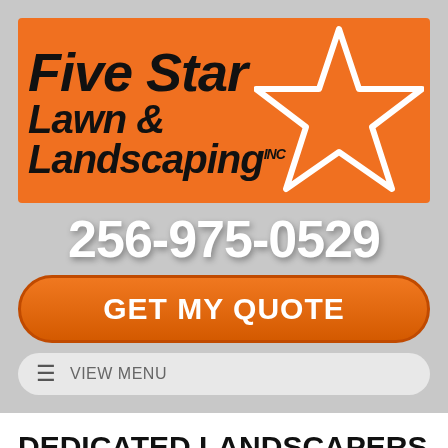[Figure (logo): Five Star Lawn & Landscaping INC logo on orange background with white star outline]
256-975-0529
GET MY QUOTE
≡  VIEW MENU
DEDICATED LANDSCAPERS IN MADISON